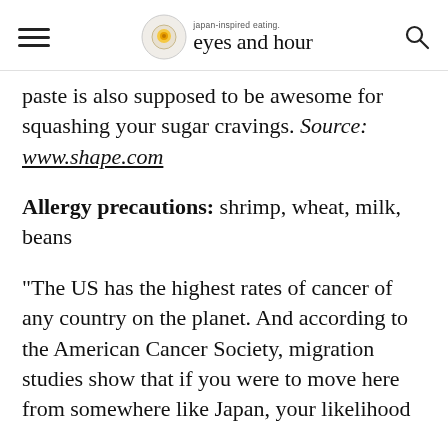japan-inspired eating. eyes and hour
paste is also supposed to be awesome for squashing your sugar cravings. Source: www.shape.com
Allergy precautions: shrimp, wheat, milk, beans
“The US has the highest rates of cancer of any country on the planet. And according to the American Cancer Society, migration studies show that if you were to move here from somewhere like Japan, your likelihood